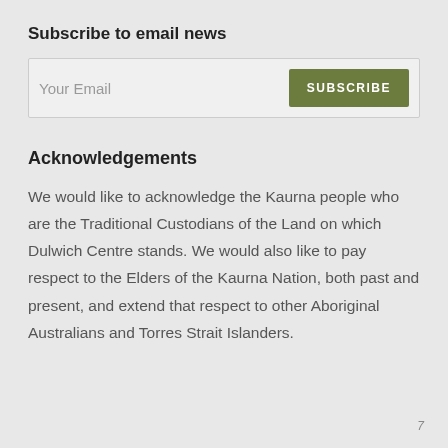Subscribe to email news
Your Email
Acknowledgements
We would like to acknowledge the Kaurna people who are the Traditional Custodians of the Land on which Dulwich Centre stands. We would also like to pay respect to the Elders of the Kaurna Nation, both past and present, and extend that respect to other Aboriginal Australians and Torres Strait Islanders.
7